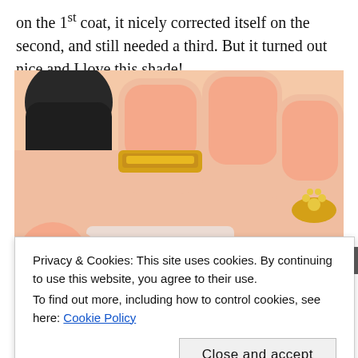on the 1st coat, it nicely corrected itself on the second, and still needed a third. But it turned out nice and I love this shade!
[Figure (photo): Close-up photo of a hand with peach/salmon-colored nails (CND Vinylux nail polish) holding a nail polish bottle. The hand wears gold rings, and the CND Vinylux branding is visible on the bottle.]
Privacy & Cookies: This site uses cookies. By continuing to use this website, you agree to their use.
To find out more, including how to control cookies, see here: Cookie Policy
Close and accept